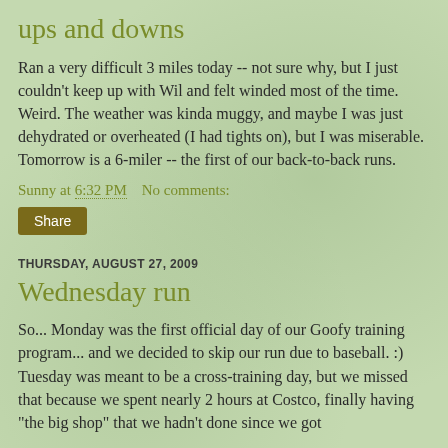ups and downs
Ran a very difficult 3 miles today -- not sure why, but I just couldn't keep up with Wil and felt winded most of the time. Weird. The weather was kinda muggy, and maybe I was just dehydrated or overheated (I had tights on), but I was miserable. Tomorrow is a 6-miler -- the first of our back-to-back runs.
Sunny at 6:32 PM    No comments:
Share
THURSDAY, AUGUST 27, 2009
Wednesday run
So... Monday was the first official day of our Goofy training program... and we decided to skip our run due to baseball. :) Tuesday was meant to be a cross-training day, but we missed that because we spent nearly 2 hours at Costco, finally having "the big shop" that we hadn't done since we got